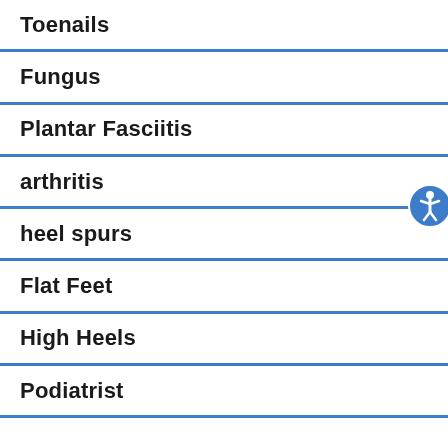Toenails
Fungus
Plantar Fasciitis
arthritis
heel spurs
Flat Feet
High Heels
Podiatrist